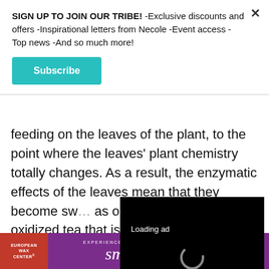SIGN UP TO JOIN OUR TRIBE! -Exclusive discounts and offers -Inspirational letters from Necole -Event access -Top news -And so much more!
Subscribe
feeding on the leaves of the plant, to the point where the leaves' plant chemistry totally changes. As a result, the enzymatic effects of the leaves mean that they become sw... as oolong tea goes, oxidized tea that is the health benefits t...
[Figure (screenshot): Video player overlay with black background showing 'Loading ad' text, a spinning loading indicator, and video controls (pause, expand, mute buttons)]
[Figure (infographic): European Wax Center advertisement banner with purple background. Left red section shows 'EUROPEAN WAX CENTER' logo. Center shows 'EXPERIENCE A NEW STATE OF smooth' tagline. Right shows 'FIRST WAX free* BOOK NOW' button.]